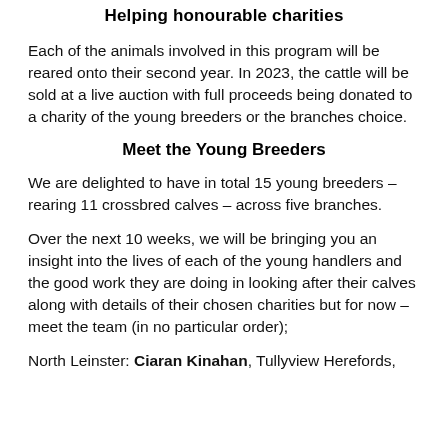Helping honourable charities
Each of the animals involved in this program will be reared onto their second year. In 2023, the cattle will be sold at a live auction with full proceeds being donated to a charity of the young breeders or the branches choice.
Meet the Young Breeders
We are delighted to have in total 15 young breeders – rearing 11 crossbred calves – across five branches.
Over the next 10 weeks, we will be bringing you an insight into the lives of each of the young handlers and the good work they are doing in looking after their calves along with details of their chosen charities but for now – meet the team (in no particular order);
North Leinster: Ciaran Kinahan, Tullyview Herefords,